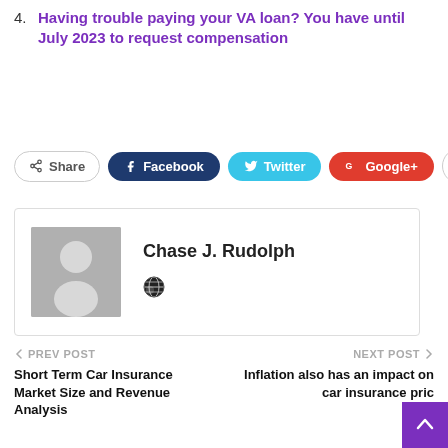4. Having trouble paying your VA loan? You have until July 2023 to request compensation
[Figure (other): Social share buttons row: Share, Facebook, Twitter, Google+, and a plus button]
[Figure (other): Author card with avatar placeholder and name Chase J. Rudolph with globe icon]
Chase J. Rudolph
PREV POST — Short Term Car Insurance Market Size and Revenue Analysis
NEXT POST — Inflation also has an impact on car insurance pric…